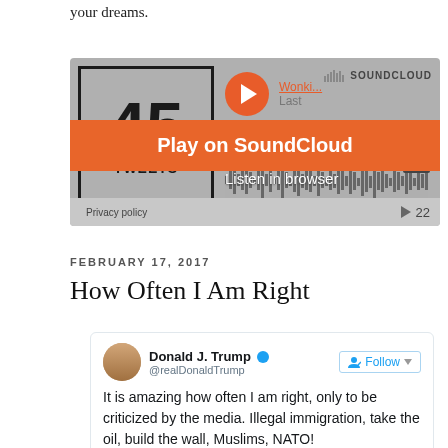your dreams.
[Figure (screenshot): SoundCloud embedded player showing '45 TWEETS' with orange 'Play on SoundCloud' button overlay and 'Listen in browser' text]
FEBRUARY 17, 2017
How Often I Am Right
[Figure (screenshot): Embedded tweet from @realDonaldTrump: 'It is amazing how often I am right, only to be criticized by the media. Illegal immigration, take the oil, build the wall, Muslims, NATO!']